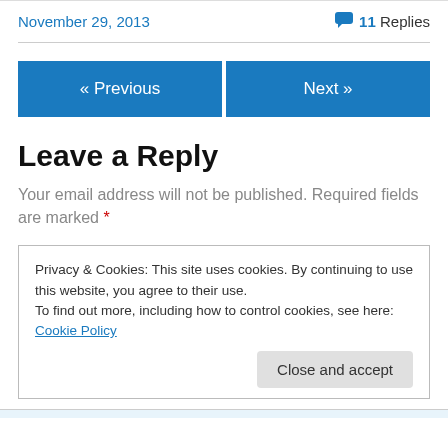November 29, 2013
11 Replies
« Previous
Next »
Leave a Reply
Your email address will not be published. Required fields are marked *
Privacy & Cookies: This site uses cookies. By continuing to use this website, you agree to their use.
To find out more, including how to control cookies, see here: Cookie Policy
Close and accept